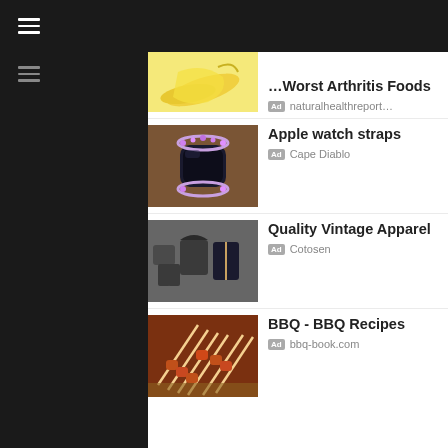[Figure (screenshot): Mobile app navigation bar with hamburger menu icon on dark background]
[Figure (screenshot): Dark sidebar with hamburger menu icon]
[Figure (screenshot): Advertisement: Worst Arthritis Foods showing banana image, source: naturalhealthreport...]
[Figure (screenshot): Advertisement: Apple watch straps showing bejeweled watch image, source: Cape Diablo]
[Figure (screenshot): Advertisement: Quality Vintage Apparel showing clothing image, source: Cotosen]
[Figure (screenshot): Advertisement: BBQ - BBQ Recipes showing grilled skewers image, source: bbq-book.com]